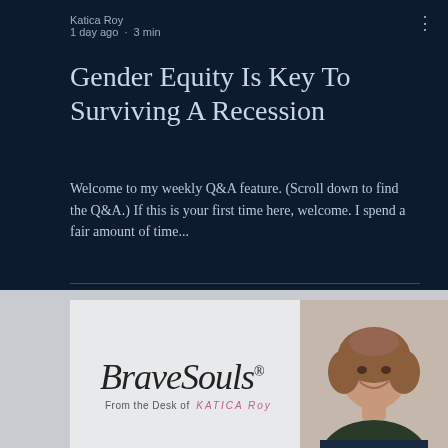Katica Roy
1 day ago · 3 min
Gender Equity Is Key To Surviving A Recession
Welcome to my weekly Q&A feature. (Scroll down to find the Q&A.) If this is your first time here, welcome. I spend a fair amount of time...
[Figure (photo): BraveSouls logo card with cursive BraveSouls® text and 'From the Desk of KATICA Roy' tagline on light grey background, with a photo of a woman with short bob haircut smiling on the right side]